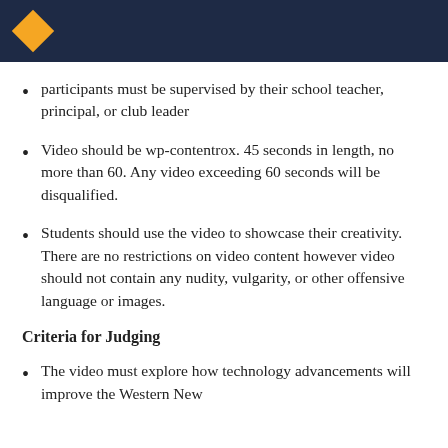[Header bar with diamond logo]
participants must be supervised by their school teacher, principal, or club leader
Video should be wp-contentrox. 45 seconds in length, no more than 60.  Any video exceeding 60 seconds will be disqualified.
Students should use the video to showcase their creativity.  There are no restrictions on video content however video should not contain any nudity, vulgarity, or other offensive language or images.
Criteria for Judging
The video must explore how technology advancements will improve the Western New